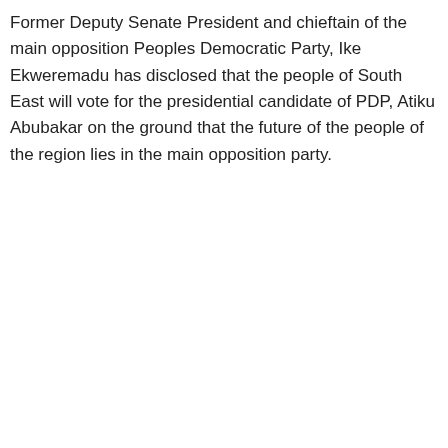Former Deputy Senate President and chieftain of the main opposition Peoples Democratic Party, Ike Ekweremadu has disclosed that the people of South East will vote for the presidential candidate of PDP, Atiku Abubakar on the ground that the future of the people of the region lies in the main opposition party.